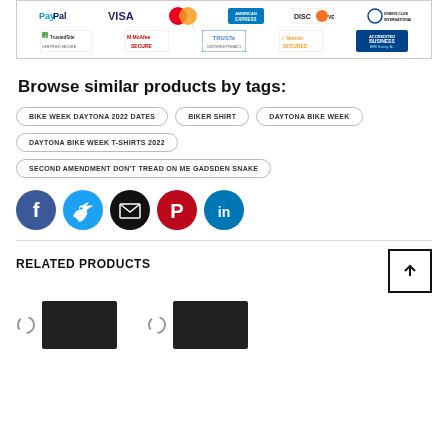[Figure (other): Trust badges: PayPal, Visa, Mastercard, American Express, Discover, Diners Club International (top row); TrustedSite Certified Secure, McAfee Secure, TRUSTe Certified Privacy, Norton Secured, BBB Accredited Business A+ (bottom row)]
Browse similar products by tags:
BIKE WEEK DAYTONA 2022 DATES
BIKER SHIRT
DAYTONA BIKE WEEK
DAYTONA BIKE WEEK T-SHIRTS 2022
SECOND AMENDMENT DON'T TREAD ON ME GADSDEN SNAKE
[Figure (other): Social share icons: Facebook (blue circle), Twitter (blue circle), Email (black circle), Pinterest (red circle), LinkedIn (blue circle)]
RELATED PRODUCTS